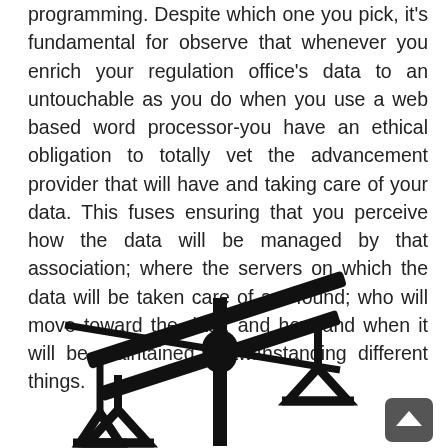programming. Despite which one you pick, it's fundamental for observe that whenever you enrich your regulation office's data to an untouchable as you do when you use a web based word processor-you have an ethical obligation to totally vet the advancement provider that will have and taking care of your data. This fuses ensuring that you perceive how the data will be managed by that association; where the servers on which the data will be taken care of are found; who will move toward the data; and how and when it will be maintained, notwithstanding different things.
[Figure (illustration): Scales of justice illustration in black and white showing an unbalanced scale with triangular pans, a central pivot on a vertical pole, with a small dark rounded square button in bottom-right corner.]